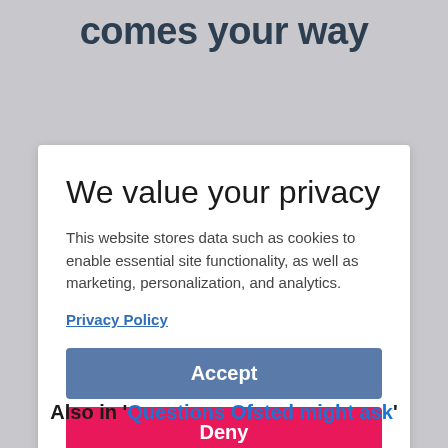comes your way
We value your privacy
This website stores data such as cookies to enable essential site functionality, as well as marketing, personalization, and analytics.
Privacy Policy
Accept
Deny
Also in 'Questions Ofsted might ask'